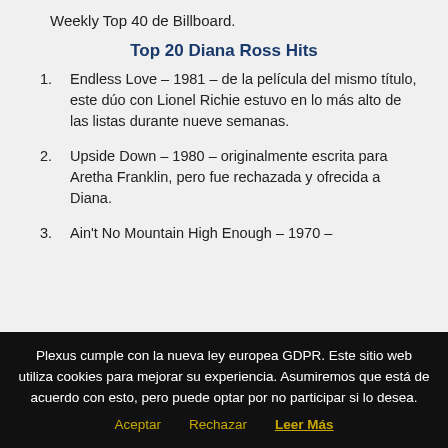Weekly Top 40 de Billboard.
Top 20 Diana Ross Hits
Endless Love – 1981 – de la película del mismo título, este dúo con Lionel Richie estuvo en lo más alto de las listas durante nueve semanas.
Upside Down – 1980 – originalmente escrita para Aretha Franklin, pero fue rechazada y ofrecida a Diana.
Ain't No Mountain High Enough – 1970 –
Plexus cumple con la nueva ley europea GDPR. Este sitio web utiliza cookies para mejorar su experiencia. Asumiremos que está de acuerdo con esto, pero puede optar por no participar si lo desea. Aceptar  Rechazar  Leer Más